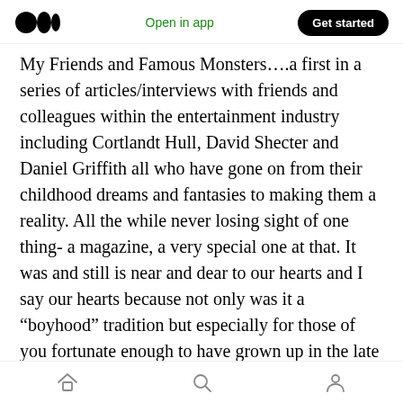Medium logo | Open in app | Get started
My Friends and Famous Monsters….a first in a series of articles/interviews with friends and colleagues within the entertainment industry including Cortlandt Hull, David Shecter and Daniel Griffith all who have gone on from their childhood dreams and fantasies to making them a reality. All the while never losing sight of one thing- a magazine, a very special one at that. It was and still is near and dear to our hearts and I say our hearts because not only was it a “boyhood” tradition but especially for those of you fortunate enough to have grown up in the late 50’s, 60’s and 70’s for it was the age of
Home | Search | Profile